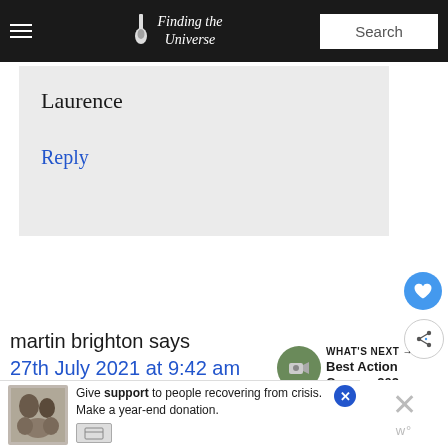Finding the Universe | Search
Laurence
Reply
martin brighton says
27th July 2021 at 9:42 am
[Figure (other): What's Next thumbnail with camera image and text 'Best Action Camera 202...']
I have a Huawei p30 lite
[Figure (other): Advertisement banner: Give support to people recovering from crisis. Make a year-end donation.]